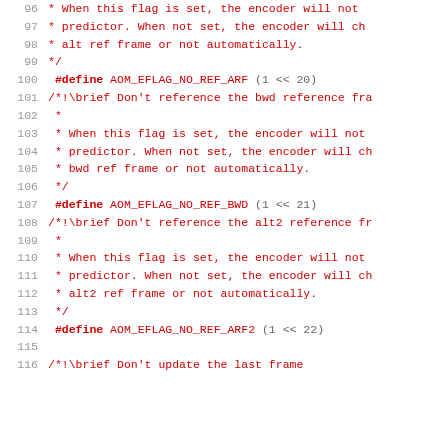Code listing lines 96-116 showing C preprocessor macro definitions for AOM encoder flags (AOM_EFLAG_NO_REF_ARF, AOM_EFLAG_NO_REF_BWD, AOM_EFLAG_NO_REF_ARF2) with accompanying Doxygen comments.